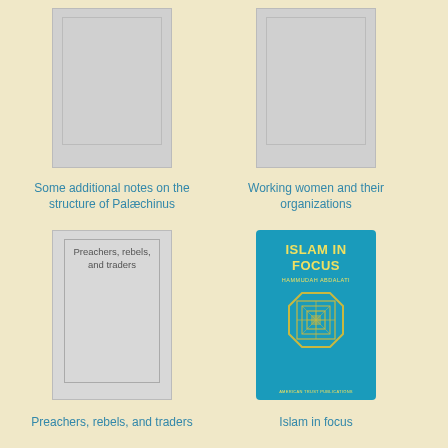[Figure (illustration): Gray book cover placeholder for 'Some additional notes on the structure of Palæchinus']
Some additional notes on the structure of Palæchinus
[Figure (illustration): Gray book cover placeholder for 'Working women and their organizations']
Working women and their organizations
[Figure (illustration): Gray book cover with inner border showing text 'Preachers, rebels, and traders']
Preachers, rebels, and traders
[Figure (illustration): Teal/blue book cover for 'Islam in Focus' by Hammudah Abdalati with decorative geometric emblem]
Islam in focus
[Figure (illustration): Partial gray book cover placeholder at bottom left]
[Figure (illustration): Partial white cover for 'A Prentice Hall Guide to...' at bottom right]